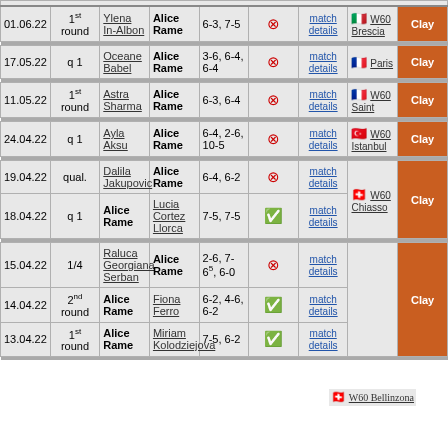| Date | Round | Player 1 | Player 2 | Score |  | Match | Tournament | Surface |
| --- | --- | --- | --- | --- | --- | --- | --- | --- |
| 01.06.22 | 1st round | Ylena In-Albon | Alice Rame | 6-3, 7-5 | loss | match details | 🇮🇹 W60 Brescia | Clay |
| 17.05.22 | q 1 | Oceane Babel | Alice Rame | 3-6, 6-4, 6-4 | loss | match details | 🇫🇷 Paris | Clay |
| 11.05.22 | 1st round | Astra Sharma | Alice Rame | 6-3, 6-4 | loss | match details | 🇫🇷 W60 Saint | Clay |
| 24.04.22 | q 1 | Ayla Aksu | Alice Rame | 6-4, 2-6, 10-5 | loss | match details | 🇹🇷 W60 Istanbul | Clay |
| 19.04.22 | qual. | Dalila Jakupovic | Alice Rame | 6-4, 6-2 | loss | match details | 🇨🇭 W60 Chiasso | Clay |
| 18.04.22 | q 1 | Alice Rame | Lucia Cortez Llorca | 7-5, 7-5 | win | match details | 🇨🇭 W60 Chiasso | Clay |
| 15.04.22 | 1/4 | Raluca Georgiana Serban | Alice Rame | 2-6, 7-6⁵, 6-0 | loss | match details | 🇨🇭 W60 Bellinzona | Clay |
| 14.04.22 | 2nd round | Alice Rame | Fiona Ferro | 6-2, 4-6, 6-2 | win | match details | 🇨🇭 W60 Bellinzona | Clay |
| 13.04.22 | 1st round | Alice Rame | Miriam Kolodziejova | 7-5, 6-2 | win | match details | 🇨🇭 W60 Bellinzona | Clay |